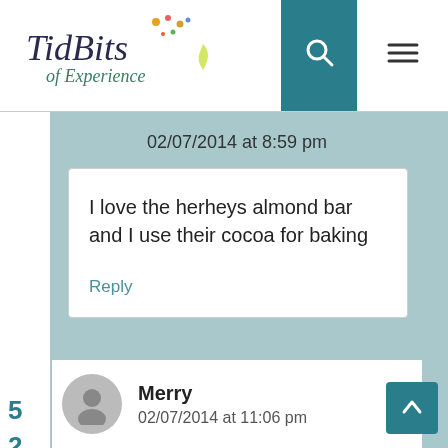[Figure (logo): TidBits of Experience blog logo with colorful dots and stylized text]
02/07/2014 at 8:59 pm
I love the herheys almond bar and I use their cocoa for baking
Reply
5
2
Merry
02/07/2014 at 11:06 pm